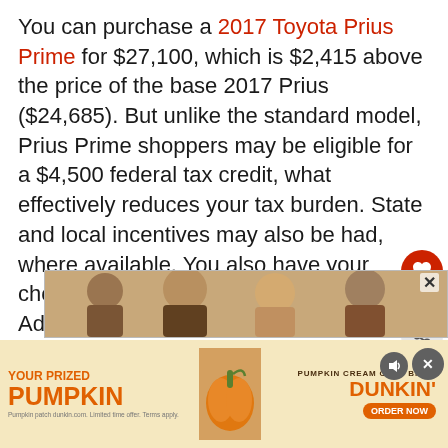You can purchase a 2017 Toyota Prius Prime for $27,100, which is $2,415 above the price of the base 2017 Prius ($24,685). But unlike the standard model, Prius Prime shoppers may be eligible for a $4,500 federal tax credit, what effectively reduces your tax burden. State and local incentives may also be had, where available. You also have your choice of Premium ($28,800) and Advanced ($33,100) models, the latter bringing in HU and advanced driver assist features. Toyota assesses an $885 destination fee.
[Figure (screenshot): UI overlay with heart/like button showing count of 1, and share button]
[Figure (screenshot): What's Next widget with thumbnail image and text 'Where Can I Find My Car...']
[Figure (photo): Advertisement banner showing people, with close button]
[Figure (infographic): Dunkin' advertisement banner: YOUR PRIZED PUMPKIN / PUMPKIN CREAM COLD BREW DUNKIN' ORDER NOW]